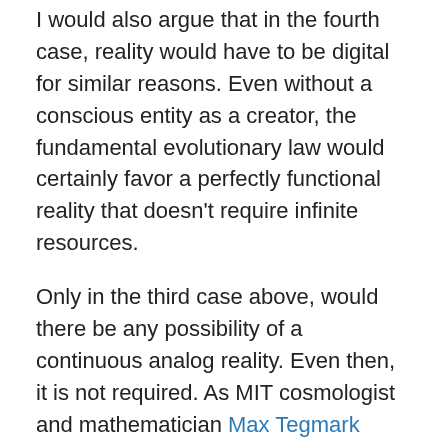I would also argue that in the fourth case, reality would have to be digital for similar reasons. Even without a conscious entity as a creator, the fundamental evolutionary law would certainly favor a perfectly functional reality that doesn't require infinite resources.
Only in the third case above, would there be any possibility of a continuous analog reality. Even then, it is not required. As MIT cosmologist and mathematician Max Tegmark succinctly put it, “We’ve never measured anything in physics to more than about sixteen significant digits, and no experiment has been carried out whose outcome depends on the hypothesis that a true continuum exists, or hinges on nature computing something uncomputable.” Hence there is no reason to assume, a priori, that the world is continuous. In fact, the evidence points to the contrary: